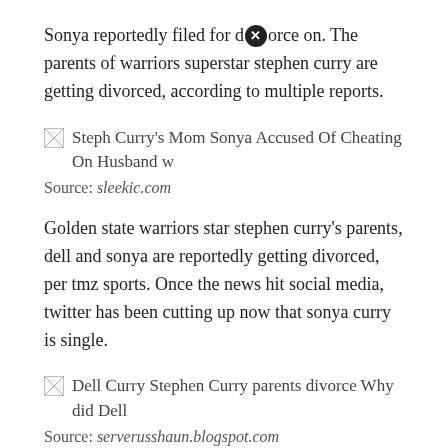Sonya reportedly filed for divorce on. The parents of warriors superstar stephen curry are getting divorced, according to multiple reports.
[Figure (other): Broken image placeholder for 'Steph Curry's Mom Sonya Accused Of Cheating On Husband w']
Source: sleekic.com
Golden state warriors star stephen curry's parents, dell and sonya are reportedly getting divorced, per tmz sports. Once the news hit social media, twitter has been cutting up now that sonya curry is single.
[Figure (other): Broken image placeholder for 'Dell Curry Stephen Curry parents divorce Why did Dell']
Source: serverusshaun.blogspot.com
The couple had been married since 1988. Sonya and dell